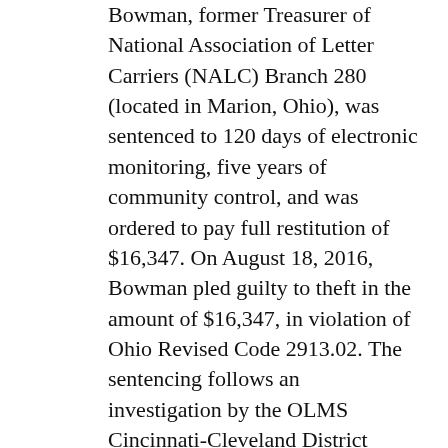Bowman, former Treasurer of National Association of Letter Carriers (NALC) Branch 280 (located in Marion, Ohio), was sentenced to 120 days of electronic monitoring, five years of community control, and was ordered to pay full restitution of $16,347. On August 18, 2016, Bowman pled guilty to theft in the amount of $16,347, in violation of Ohio Revised Code 2913.02. The sentencing follows an investigation by the OLMS Cincinnati-Cleveland District Office and the Marion County Sheriff's Department.
On September 16, 2016, in the United States District Court for the Northern District of Ohio, Western Division, Aaron Contreras, former Financial Secretary of Communications Workers of America (CWA) Local 84749 (located in Fostoria, Ohio), was